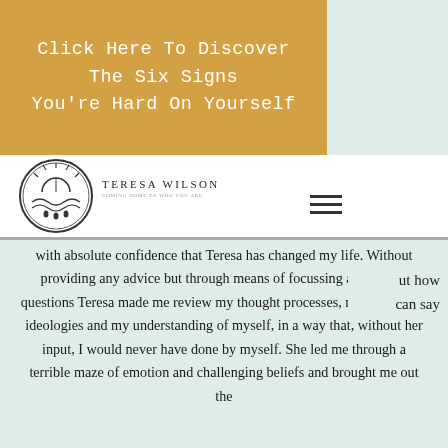Click Here To Discover The Six Signs You're Hard On Yourself
[Figure (logo): Teresa Wilson circular logo with landscape/river scene, with brand name 'TERESA WILSON' and tagline 'COMING HOME TO WHO YOU ARE']
...ut how ...can say with absolute confidence that Teresa has changed my life. Without providing any advice but through means of focussing and asking questions Teresa made me review my thought processes, my values and ideologies and my understanding of myself, in a way that, without her input, I would never have done by myself. She led me through a terrible maze of emotion and challenging beliefs and brought me out the other end...